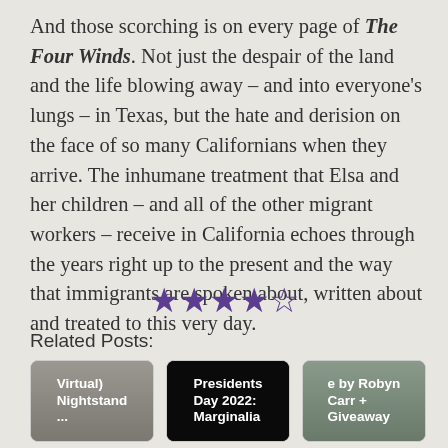And those scorching is on every page of The Four Winds. Not just the despair of the land and the life blowing away – and into everyone's lungs – in Texas, but the hate and derision on the face of so many Californians when they arrive. The inhumane treatment that Elsa and her children – and all of the other migrant workers – receive in California echoes through the years right up to the present and the way that immigrants are spoken about, written about and treated to this very day.
[Figure (other): 4.5 out of 5 stars rating shown as filled and half-filled purple star icons]
Related Posts:
[Figure (photo): Thumbnail image for Virtual) Nightstand post]
[Figure (photo): Thumbnail image for Presidents Day 2022: Marginalia post]
[Figure (photo): Thumbnail image for e by Robyn Carr + Giveaway post]